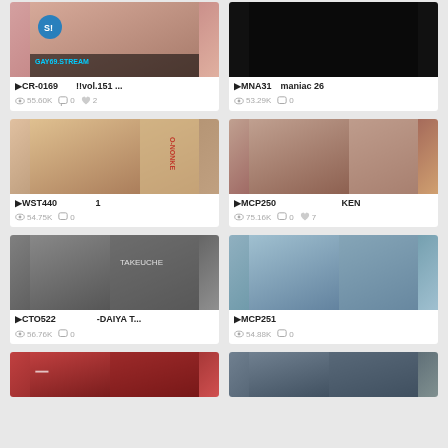[Figure (photo): Video thumbnail 1 - CR-0169 content with GAY69.STREAM watermark]
▶CR-0169　　　　!!vol.151 ...
👁 55.60K  💬 0  ❤ 2
[Figure (photo): Video thumbnail 2 - MNA31 maniac 26, black background]
▶MNA31　maniac 26
👁 53.29K  💬 0
[Figure (photo): Video thumbnail 3 - WST440 content]
▶WST440　　　　　 1
👁 54.75K  💬 0
[Figure (photo): Video thumbnail 4 - MCP250 KEN content]
▶MCP250　　　　　　　　　 KEN
👁 75.16K  💬 0  ❤ 7
[Figure (photo): Video thumbnail 5 - CTO522 DAIYA T content]
▶CTO522　　　 　　 -DAIYA T...
👁 56.76K  💬 0
[Figure (photo): Video thumbnail 6 - MCP251 content]
▶MCP251
👁 54.88K  💬 0
[Figure (photo): Video thumbnail 7 - bottom left partial]
[Figure (photo): Video thumbnail 8 - bottom right partial]